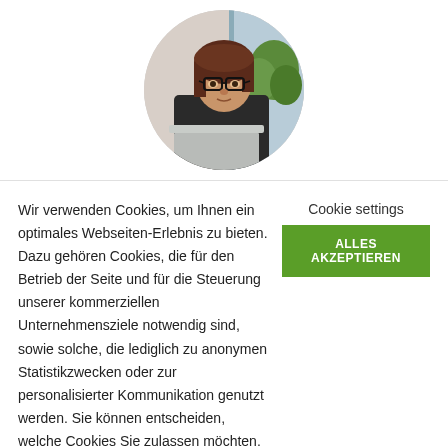[Figure (photo): Circular portrait photo of a woman with glasses and dark hair, holding a laptop, with a plant visible in the background.]
Wir verwenden Cookies, um Ihnen ein optimales Webseiten-Erlebnis zu bieten. Dazu gehören Cookies, die für den Betrieb der Seite und für die Steuerung unserer kommerziellen Unternehmensziele notwendig sind, sowie solche, die lediglich zu anonymen Statistikzwecken oder zur personalisierter Kommunikation genutzt werden. Sie können entscheiden, welche Cookies Sie zulassen möchten.
Cookie settings
ALLES AKZEPTIEREN